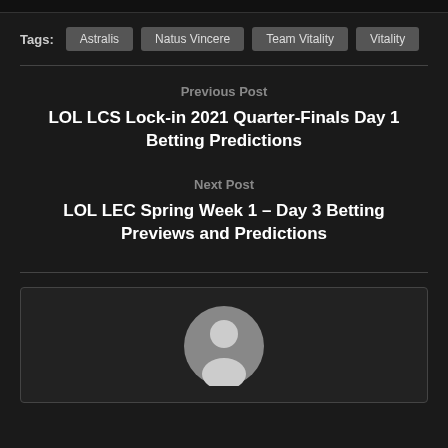Tags: Astralis  Natus Vincere  Team Vitality  Vitality
Previous Post
LOL LCS Lock-in 2021 Quarter-Finals Day 1 Betting Predictions
Next Post
LOL LEC Spring Week 1 – Day 3 Betting Previews and Predictions
[Figure (illustration): Default user avatar — circular grey silhouette of a person on a dark background]